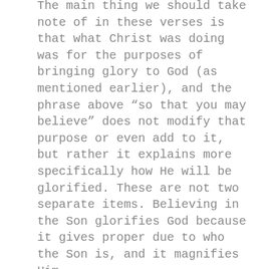The main thing we should take note of in these verses is that what Christ was doing was for the purposes of bringing glory to God (as mentioned earlier), and the phrase above “so that you may believe” does not modify that purpose or even add to it, but rather it explains more specifically how He will be glorified. These are not two separate items. Believing in the Son glorifies God because it gives proper due to who the Son is, and it magnifies Him.
John wrote this entire book for this purpose (John 20:30-31), and Christ’s entire mission was centered on this fundamental goal.  I hope that anyone reading this now understands that Christianity is all about Christ. He is the center of the Bible and indeed of all human history. Life (of the abundant kind) is about believing in Him, in placing full confidence in His